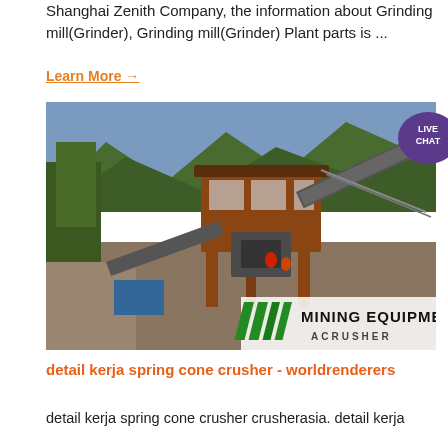Shanghai Zenith Company, the information about Grinding mill(Grinder), Grinding mill(Grinder) Plant parts is ...
Learn More →
[Figure (photo): Mining equipment site showing a large industrial crushing/screening plant with conveyor belts, an operator cabin, and workers on site. Mountains and trees visible in background. Overlay reads 'MINING EQUIPMENT ACRUSHER' with green diagonal stripes. A 'LIVE CHAT' speech bubble badge is overlaid in the top-right corner.]
detail kerja spring cone crusher - worldrenderers
detail kerja spring cone crusher crusherasia. detail kerja